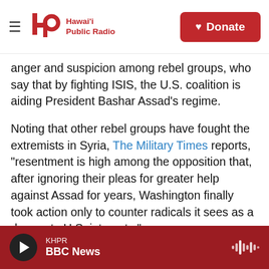Hawai'i Public Radio | Donate
anger and suspicion among rebel groups, who say that by fighting ISIS, the U.S. coalition is aiding President Bashar Assad's regime.
Noting that other rebel groups have fought the extremists in Syria, The Military Times reports, "resentment is high among the opposition that, after ignoring their pleas for greater help against Assad for years, Washington finally took action only to counter radicals it sees as a danger to U.S. interests."
On Friday, Defense Secretary Chuck Hagel
KHPR BBC News